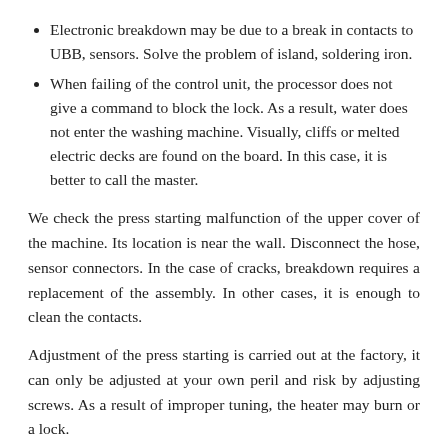Electronic breakdown may be due to a break in contacts to UBB, sensors. Solve the problem of island, soldering iron.
When failing of the control unit, the processor does not give a command to block the lock. As a result, water does not enter the washing machine. Visually, cliffs or melted electric decks are found on the board. In this case, it is better to call the master.
We check the press starting malfunction of the upper cover of the machine. Its location is near the wall. Disconnect the hose, sensor connectors. In the case of cracks, breakdown requires a replacement of the assembly. In other cases, it is enough to clean the contacts.
Adjustment of the press starting is carried out at the factory, it can only be adjusted at your own peril and risk by adjusting screws. As a result of improper tuning, the heater may burn or a lock.